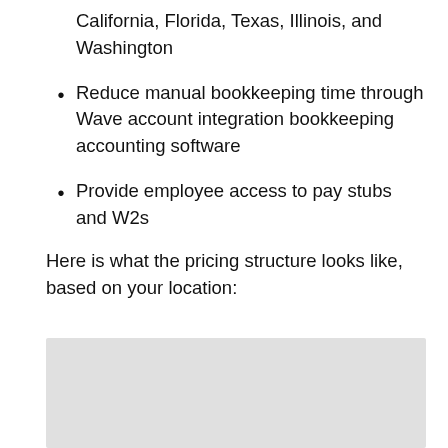California, Florida, Texas, Illinois, and Washington
Reduce manual bookkeeping time through Wave account integration bookkeeping accounting software
Provide employee access to pay stubs and W2s
Here is what the pricing structure looks like, based on your location:
[Figure (screenshot): Pricing structure table or image, partially visible, light gray background placeholder]